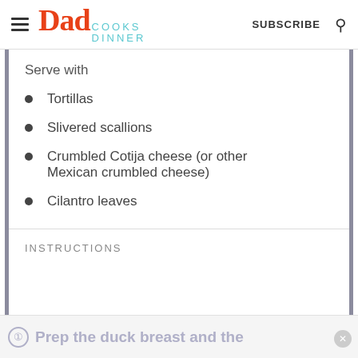Dad Cooks Dinner | SUBSCRIBE
Serve with
Tortillas
Slivered scallions
Crumbled Cotija cheese (or other Mexican crumbled cheese)
Cilantro leaves
INSTRUCTIONS
Prep the duck breast and the